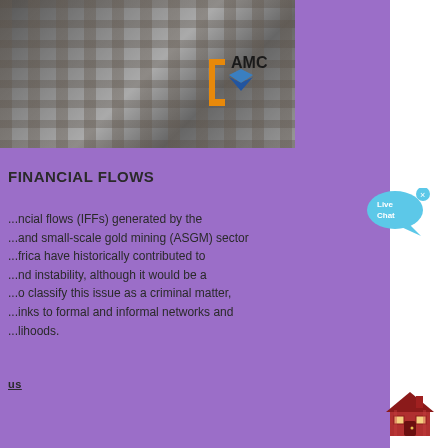[Figure (photo): Mining site with concrete pillars and industrial equipment, AMC logo overlay]
FINANCIAL FLOWS
...ncial flows (IFFs) generated by the ...and small-scale gold mining (ASGM) sector ...frica have historically contributed to ...nd instability, although it would be a ...o classify this issue as a criminal matter, ...inks to formal and informal networks and ...lihoods.
us
[Figure (illustration): Live Chat speech bubble icon]
[Figure (illustration): House/home icon]